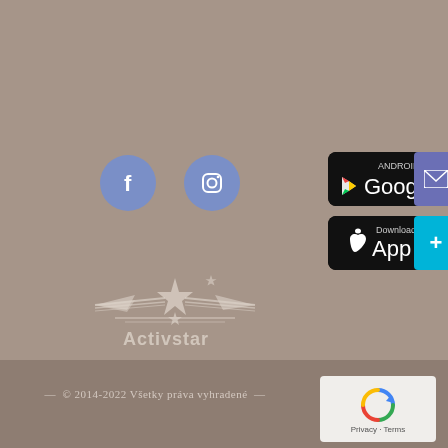[Figure (logo): Facebook icon (white f on blue circle) and Instagram icon (camera outline on blue circle)]
[Figure (logo): Activstar brand logo with star and wings, light/white on beige background]
[Figure (logo): Google Play badge: ANDROID APP ON Google play, black background with Play Store triangle logo]
[Figure (logo): App Store badge: Download on the App Store, black background with Apple logo]
[Figure (logo): Purple mail/envelope button icon]
[Figure (logo): Cyan plus (+) button]
[Figure (logo): reCAPTCHA widget with spinning arrow logo, Privacy - Terms text]
© 2014-2022 Všetky práva vyhradené